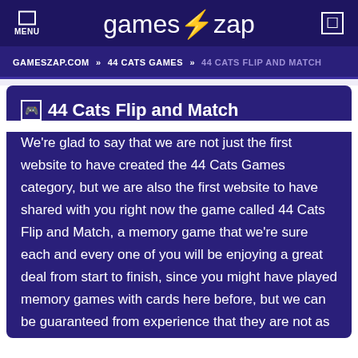MENU | games⚡zap
GAMESZAP.COM » 44 CATS GAMES » 44 CATS FLIP AND MATCH
🎮 44 Cats Flip and Match
We're glad to say that we are not just the first website to have created the 44 Cats Games category, but we are also the first website to have shared with you right now the game called 44 Cats Flip and Match, a memory game that we're sure each and every one of you will be enjoying a great deal from start to finish, since you might have played memory games with cards here before, but we can be guaranteed from experience that they are not as cool as this one. If this made you curious, read this article to the end, where you learn what you have to do and how, and then give the game everything you have best. Instead of